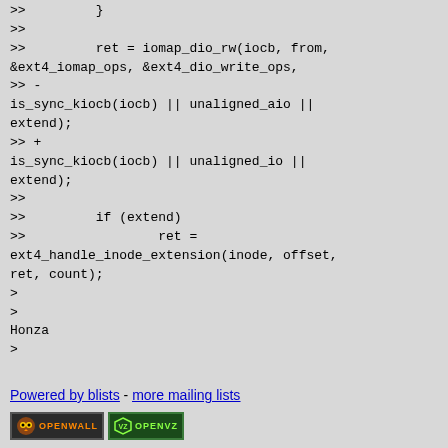>>	}
>>
>>	  ret = iomap_dio_rw(iocb, from, &ext4_iomap_ops, &ext4_dio_write_ops,
>> -
is_sync_kiocb(iocb) || unaligned_aio || extend);
>> +
is_sync_kiocb(iocb) || unaligned_io || extend);
>>
>>	  if (extend)
>>			ret =
ext4_handle_inode_extension(inode, offset, ret, count);
>
>
Honza
>
Powered by blists - more mailing lists